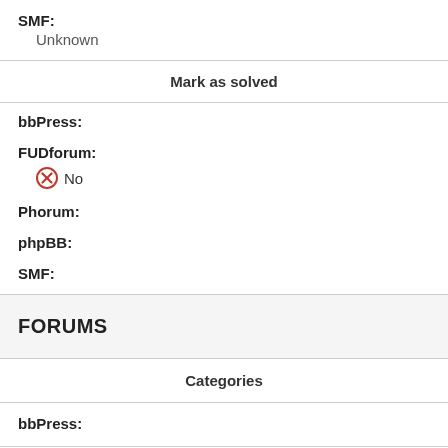SMF: Unknown
Mark as solved
bbPress:
FUDforum:
[X] No
Phorum:
phpBB:
SMF:
FORUMS
Categories
bbPress: